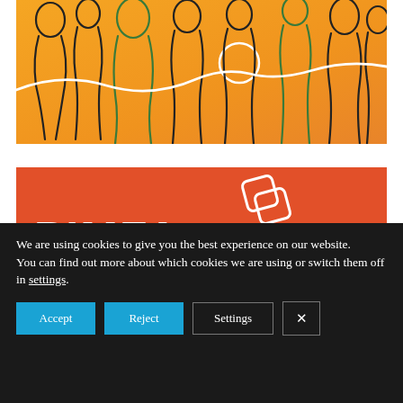[Figure (illustration): Orange/yellow background with abstract line-art silhouettes of multiple human figures, a white flowing line connecting through the composition]
[Figure (logo): PIMFA logo on orange-red background with chain-link style diamond icon, and partial text 'DIVERSITY &' below]
We are using cookies to give you the best experience on our website.
You can find out more about which cookies we are using or switch them off in settings.
Accept
Reject
Settings
×